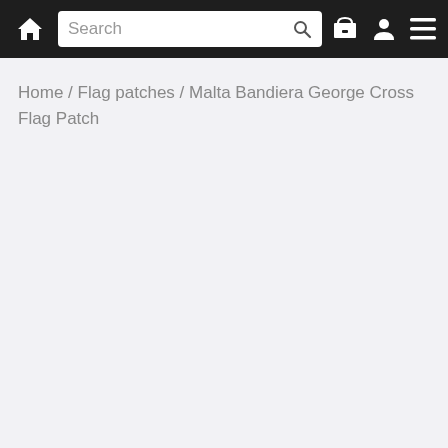Navigation bar with home icon, search bar, cart icon, user icon, and menu icon
Home / Flag patches / Malta Bandiera George Cross Flag Patch